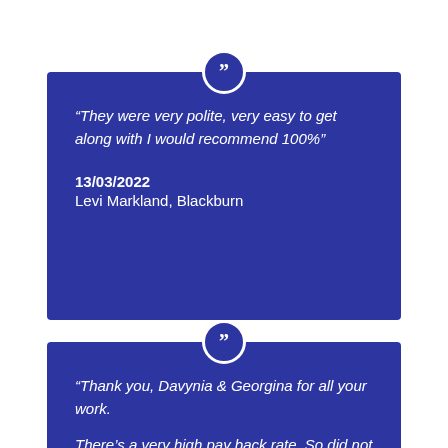“They were very polite, very easy to get along with I would recommend 100%”
13/03/2022
Levi Markland, Blackburn
“Thank you, Davynia & Georgina for all your work.

There’s a very high pay back rate. So did not receive back no where near as much as I have